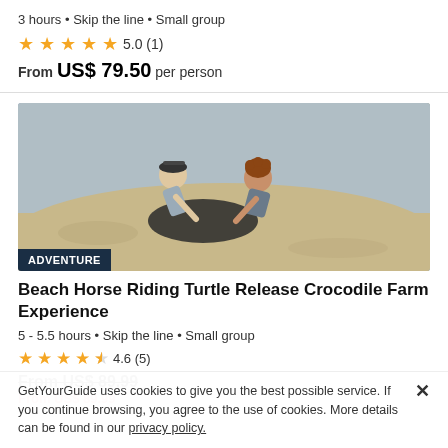3 hours • Skip the line • Small group
★★★★★ 5.0 (1)
From US$ 79.50 per person
[Figure (photo): Two people crouching on a sandy beach, appearing to handle or release a sea turtle. One person wears a baseball cap and vest, another has curly hair. Adventure badge overlay at bottom left.]
Beach Horse Riding Turtle Release Crocodile Farm Experience
5 - 5.5 hours • Skip the line • Small group
★★★★½ 4.6 (5)
From US$ 89.99
From US$ 89.99
GetYourGuide uses cookies to give you the best possible service. If you continue browsing, you agree to the use of cookies. More details can be found in our privacy policy.